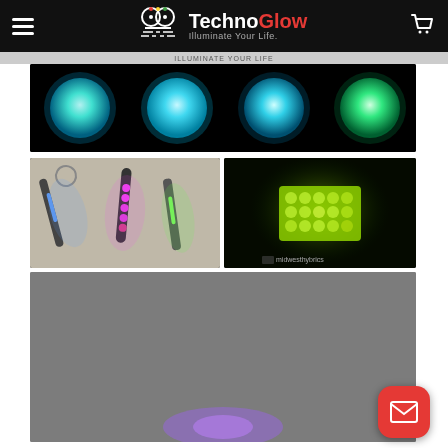TechnoGlow — Illuminate Your Life.
[Figure (photo): Four glowing balls in cyan/teal and green colors against a black background]
[Figure (photo): Several keychain pen lights glowing blue, pink/purple and green on a light background]
[Figure (photo): Hands holding a glowing yellow-green textured cube in darkness, with midwesthybrics watermark]
[Figure (photo): Partially visible glowing item on a grey background at the bottom of the page]
[Figure (other): Red circular mail/envelope button in bottom right corner]